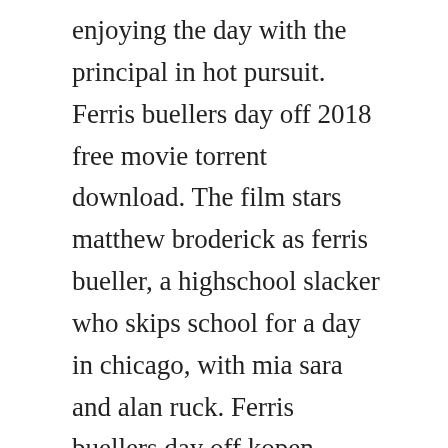enjoying the day with the principal in hot pursuit. Ferris buellers day off 2018 free movie torrent download. The film stars matthew broderick as ferris bueller, a highschool slacker who skips school for a day in chicago, with mia sara and alan ruck. Ferris buellers day off kopen microsoft store nlnl.
But he knows how to have fun, which is exactly what he sets out to do when he feigns illness and talks his parents into letting him stay home from school. Una pazza giornata di vacanza ferris buellers day off. Ferris buellers